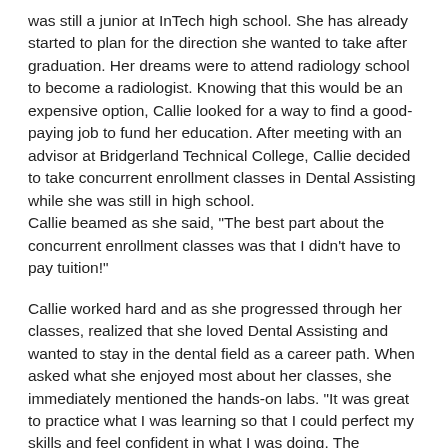was still a junior at InTech high school. She has already started to plan for the direction she wanted to take after graduation. Her dreams were to attend radiology school to become a radiologist. Knowing that this would be an expensive option, Callie looked for a way to find a good-paying job to fund her education. After meeting with an advisor at Bridgerland Technical College, Callie decided to take concurrent enrollment classes in Dental Assisting while she was still in high school.
Callie beamed as she said, "The best part about the concurrent enrollment classes was that I didn't have to pay tuition!"
Callie worked hard and as she progressed through her classes, realized that she loved Dental Assisting and wanted to stay in the dental field as a career path. When asked what she enjoyed most about her classes, she immediately mentioned the hands-on labs. "It was great to practice what I was learning so that I could perfect my skills and feel confident in what I was doing. The instructors are always supportive and encouraging, and really care about their students."
The concurrent enrollment allowed Callie to work towards completing hours during her junior and senior years, including the summer between—all without paying tuition. She completed most of her program and she still had high school left behind her...